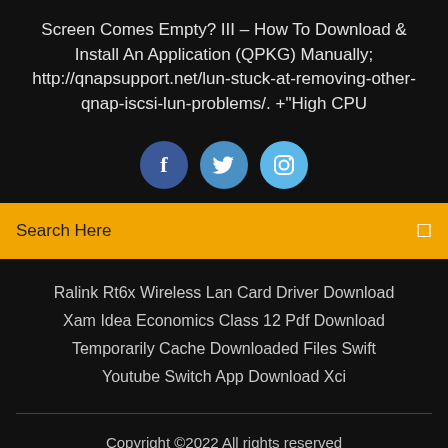Screen Comes Empty? III – How To Download & Install An Application (QPKG) Manually; http://qnapsupport.net/lun-stuck-at-removing-other-qnap-iscsi-lun-problems/. +"High CPU
[Figure (illustration): Three circular social media icon buttons: Facebook (dark blue), Twitter (medium blue), Instagram (light blue)]
Search Here
Ralink Rt6x Wireless Lan Card Driver Download
Xam Idea Economics Class 12 Pdf Download
Temporarily Cache Downloaded Files Swift
Youtube Switch App Download Xci
Copyright ©2022 All rights reserved